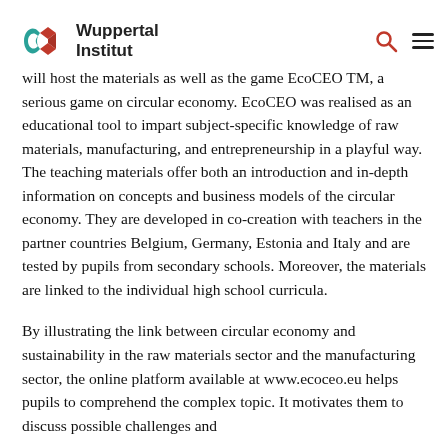Wuppertal Institut
will host the materials as well as the game EcoCEO TM, a serious game on circular economy. EcoCEO was realised as an educational tool to impart subject-specific knowledge of raw materials, manufacturing, and entrepreneurship in a playful way. The teaching materials offer both an introduction and in-depth information on concepts and business models of the circular economy. They are developed in co-creation with teachers in the partner countries Belgium, Germany, Estonia and Italy and are tested by pupils from secondary schools. Moreover, the materials are linked to the individual high school curricula.
By illustrating the link between circular economy and sustainability in the raw materials sector and the manufacturing sector, the online platform available at www.ecoceo.eu helps pupils to comprehend the complex topic. It motivates them to discuss possible challenges and